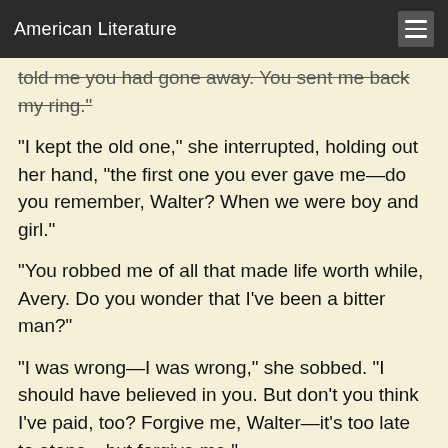American Literature
told me you had gone away. You sent me back my ring."
"I kept the old one," she interrupted, holding out her hand, "the first one you ever gave me—do you remember, Walter? When we were boy and girl."
"You robbed me of all that made life worth while, Avery. Do you wonder that I've been a bitter man?"
"I was wrong—I was wrong," she sobbed. "I should have believed in you. But don't you think I've paid, too? Forgive me, Walter—it's too late to atone—but forgive me."
"Is it too late?" he asked gravely.